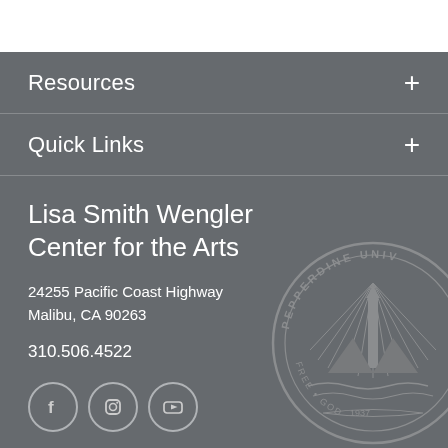Resources +
Quick Links +
Lisa Smith Wengler Center for the Arts
24255 Pacific Coast Highway
Malibu, CA 90263
310.506.4522
[Figure (logo): Social media icons: Facebook, Instagram, YouTube in circular outlines]
[Figure (logo): Pepperdine University circular seal with lighthouse/tower, rays, and waves, watermarked in background]